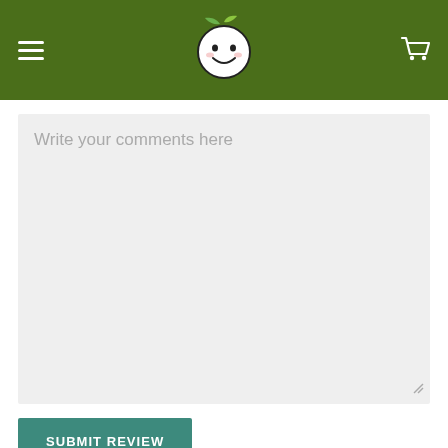Navigation header with hamburger menu, logo, and cart icon
[Figure (screenshot): Textarea input box with placeholder text 'Write your comments here' and a resize handle at the bottom right corner]
Write your comments here
SUBMIT REVIEW